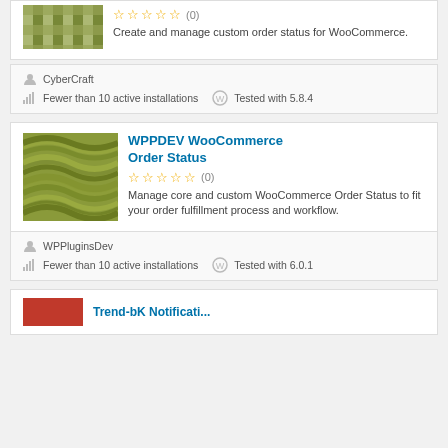[Figure (screenshot): Partial top card showing a green tile plugin thumbnail]
Create and manage custom order status for WooCommerce.
CyberCraft
Fewer than 10 active installations   Tested with 5.8.4
WPPDEV WooCommerce Order Status
[Figure (illustration): Green wavy lines plugin thumbnail]
Manage core and custom WooCommerce Order Status to fit your order fulfillment process and workflow.
WPPluginsDev
Fewer than 10 active installations   Tested with 6.0.1
[Figure (screenshot): Partial bottom card with red thumbnail, partially visible]